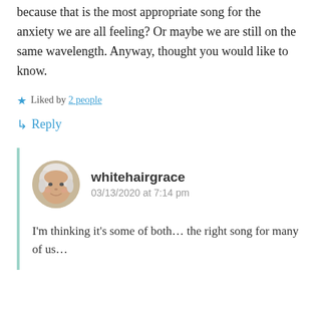because that is the most appropriate song for the anxiety we are all feeling? Or maybe we are still on the same wavelength. Anyway, thought you would like to know.
Liked by 2 people
Reply
whitehairgrace
03/13/2020 at 7:14 pm
I'm thinking it's some of both... the right song for many of us...